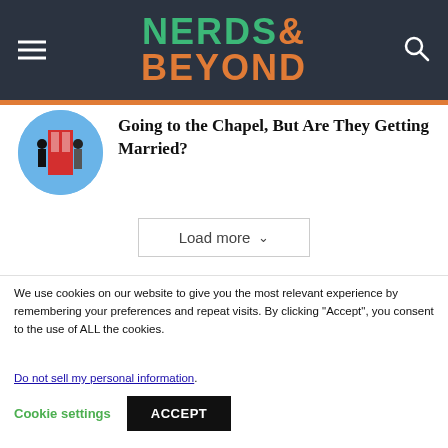[Figure (logo): Nerds & Beyond website logo in teal and orange on dark background]
Going to the Chapel, But Are They Getting Married?
Load more
We use cookies on our website to give you the most relevant experience by remembering your preferences and repeat visits. By clicking “Accept”, you consent to the use of ALL the cookies.
Do not sell my personal information.
Cookie settings
ACCEPT